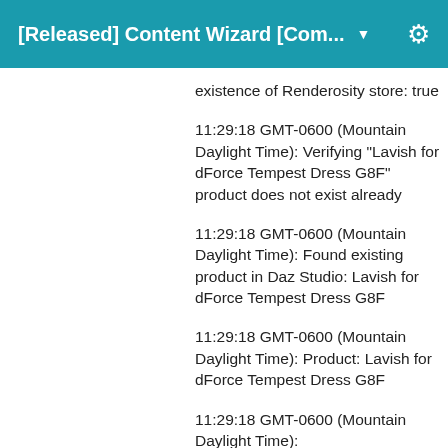[Released] Content Wizard [Com... ▼
existence of Renderosity store: true
11:29:18 GMT-0600 (Mountain Daylight Time): Verifying "Lavish for dForce Tempest Dress G8F" product does not exist already
11:29:18 GMT-0600 (Mountain Daylight Time): Found existing product in Daz Studio: Lavish for dForce Tempest Dress G8F
11:29:18 GMT-0600 (Mountain Daylight Time): Product: Lavish for dForce Tempest Dress G8F
11:29:18 GMT-0600 (Mountain Daylight Time):